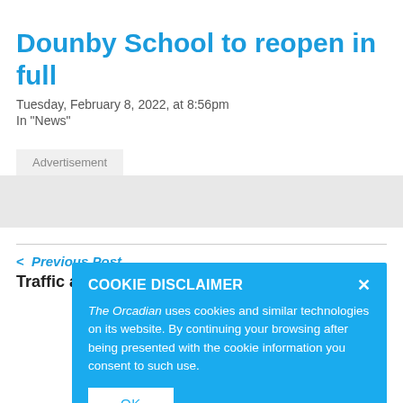Dounby School to reopen in full
Tuesday, February 8, 2022, at 8:56pm
In "News"
Advertisement
< Previous Post
Traffic accident outside Kirkwall
COOKIE DISCLAIMER
The Orcadian uses cookies and similar technologies on its website. By continuing your browsing after being presented with the cookie information you consent to such use.
OK